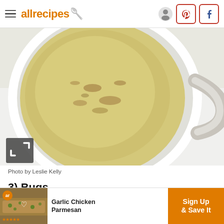allrecipes
[Figure (photo): Overhead view of a mug of creamy yellow-green soup on a white background, with a gray ceramic handle visible on the right side. A gray expand/fullscreen icon is in the bottom-left corner of the photo.]
Photo by Leslie Kelly
3) Bugs
Eating crunchy critters is gaining buzz (hoohoo) in the food
[Figure (screenshot): Advertisement banner for allrecipes showing Garlic Chicken Parmesan with a Sign Up & Save It call to action in orange.]